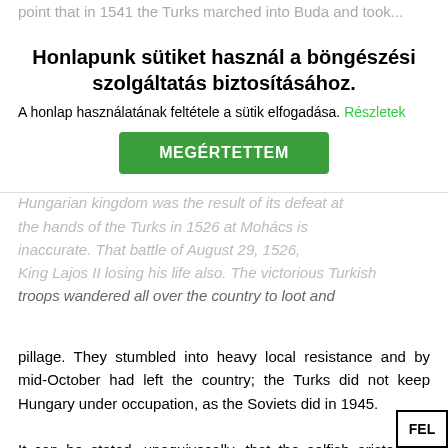point that in 1541 the Turks marched into Buda and took...
Honlapunk sütiket használ a böngészési szolgáltatás biztosításához. A honlap használatának feltétele a sütik elfogadása. Részletek MEGÉRTETTEM
The explanation that the demise of the powerful Hungarian kingdom was the result of its defeat at the hands of the Turks in 1526 at Mohács is inaccurate. That battle of August 29, 1526, King Lajos II losing his life also. The victorious Turkish troops wandered all over the country to loot and pillage. They stumbled into heavy local resistance and by mid-October had left the country; the Turks did not keep Hungary under occupation, as the Soviets did in 1945.
It can be stated, unequivocally, that the selfish aristocracy caused the demise of Hungary's greatness. In fairness, the point must be made that selfishness is not unique to the Hungarian aristocracy. It is the result of material riches and feeble human character, demonstrable in the history of any nation or country. In the case of Hungary, it became disastrous; during this time of grave external danger no ironhanded leaders emerged (such as the Hunyadis had earlier) to save and protect the country. Hungary at that time had the economic and military power to at that to the Turks especially if he did not...